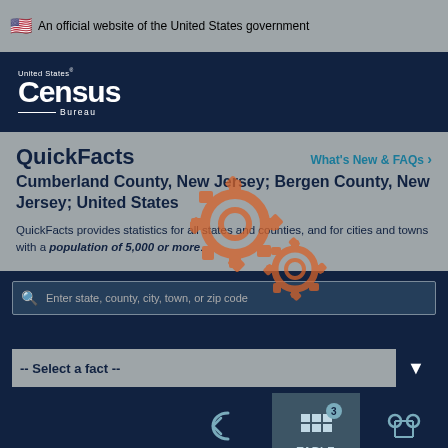🇺🇸 An official website of the United States government
[Figure (logo): United States Census Bureau logo]
QuickFacts
Cumberland County, New Jersey; Bergen County, New Jersey; United States
QuickFacts provides statistics for all states and counties, and for cities and towns with a population of 5,000 or more.
[Figure (illustration): Gear icons overlay]
Enter state, county, city, town, or zip code
-- Select a fact --